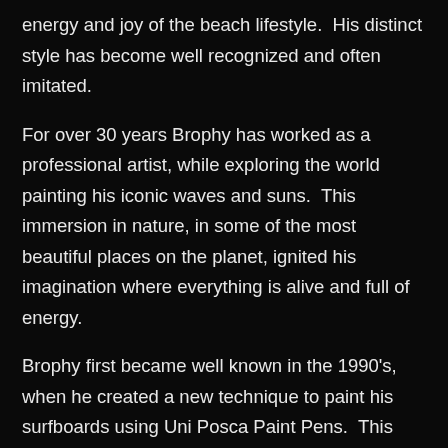energy and joy of the beach lifestyle.  His distinct style has become well recognized and often imitated.
For over 30 years Brophy has worked as a professional artist, while exploring the world painting his iconic waves and suns.  This immersion in nature, in some of the most beautiful places on the planet, ignited his imagination where everything is alive and full of energy.
Brophy first became well known in the 1990's, when he created a new technique to paint his surfboards using Uni Posca Paint Pens.  This technique allowed for more creativity and it changed the way surfboards were painted forever.  The popularity of this new style